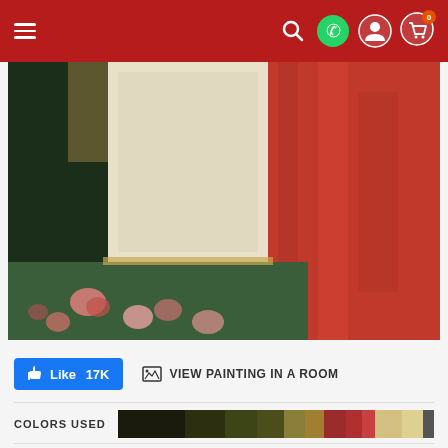Navigation bar with menu, search, WhatsApp, account, and cart (0) icons
[Figure (photo): Close-up detail of a classical painting showing a woman's dress with white lace/embroidery bodice, red draping fabric, and floral ground with colorful flowers on dark green]
Like 17K
VIEW PAINTING IN A ROOM
COLORS USED
Select a Frame
Watch: About frames